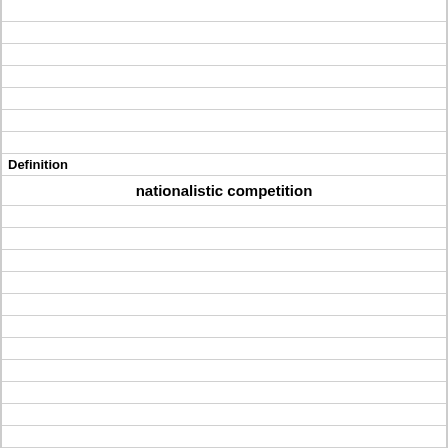Definition
nationalistic competition
Term
who did alsace-lorraine originally belong to